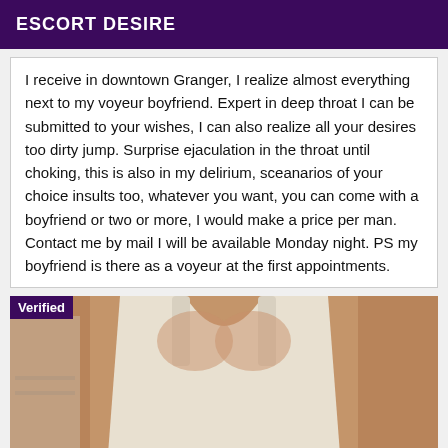ESCORT DESIRE
I receive in downtown Granger, I realize almost everything next to my voyeur boyfriend. Expert in deep throat I can be submitted to your wishes, I can also realize all your desires too dirty jump. Surprise ejaculation in the throat until choking, this is also in my delirium, sceanarios of your choice insults too, whatever you want, you can come with a boyfriend or two or more, I would make a price per man. Contact me by mail I will be available Monday night. PS my boyfriend is there as a voyeur at the first appointments.
[Figure (photo): Photo of a person wearing a white tank top, shown from neck to waist, with a 'Verified' badge overlay in the top-left corner.]